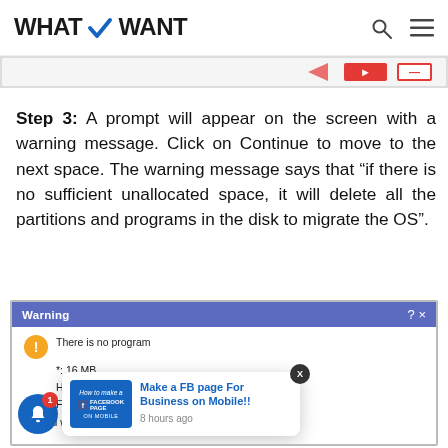WHATVWANT
[Figure (screenshot): Partial screenshot with red buttons on a grey strip]
Step 3: A prompt will appear on the screen with a warning message. Click on Continue to move to the next space. The warning message says that “if there is no sufficient unallocated space, it will delete all the partitions and programs in the disk to migrate the OS”.
[Figure (screenshot): Warning dialog box showing disk migration warning, partially obscured by a notification popup about 'Make a FB page For Business on Mobile!!']